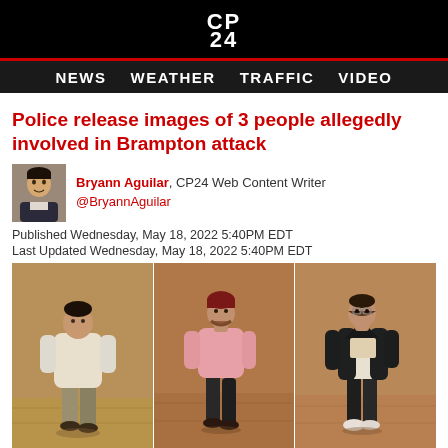CP24
NEWS   WEATHER   TRAFFIC   VIDEO
Police release images of 3 people allegedly involved in Brampton attack
Bryann Aguilar, CP24 Web Content Writer @BryannAguilar
Published Wednesday, May 18, 2022 5:40PM EDT
Last Updated Wednesday, May 18, 2022 5:40PM EDT
[Figure (photo): Three CCTV surveillance images showing three male suspects: left person in cream/white hoodie and grey pants, center person in pink sweatshirt and black pants with dark red beanie, right person in dark jacket and white shirt with black pants.]
Police are looking for these three people who they say were also involved in an attack outside a bowling alley in Brampton.